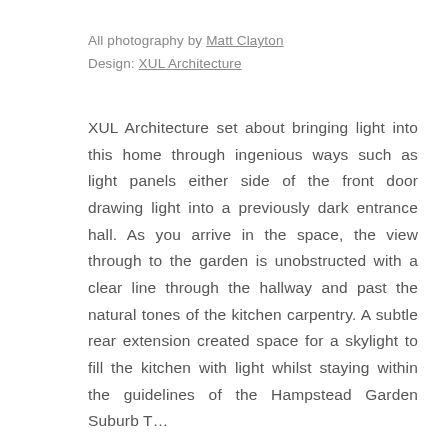All photography by Matt Clayton
Design: XUL Architecture
XUL Architecture set about bringing light into this home through ingenious ways such as light panels either side of the front door drawing light into a previously dark entrance hall. As you arrive in the space, the view through to the garden is unobstructed with a clear line through the hallway and past the natural tones of the kitchen carpentry. A subtle rear extension created space for a skylight to fill the kitchen with light whilst staying within the guidelines of the Hampstead Garden Suburb Trust...